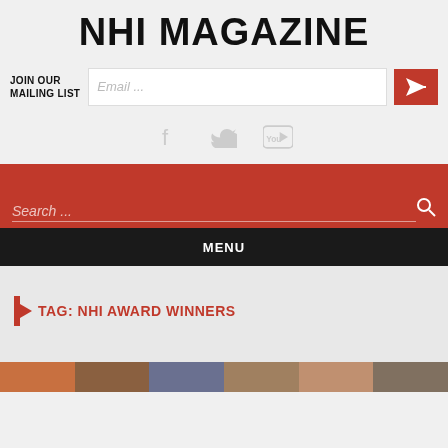NHI MAGAZINE
JOIN OUR MAILING LIST
Email ...
[Figure (infographic): Social media icons: Facebook, Twitter, YouTube]
Search ...
MENU
TAG: NHI AWARD WINNERS
[Figure (photo): Photo strip showing multiple people's faces at the bottom of the page]